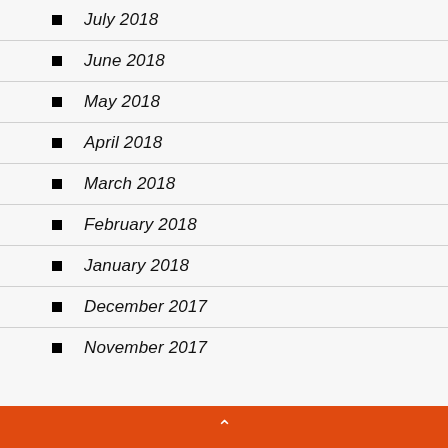July 2018
June 2018
May 2018
April 2018
March 2018
February 2018
January 2018
December 2017
November 2017
^